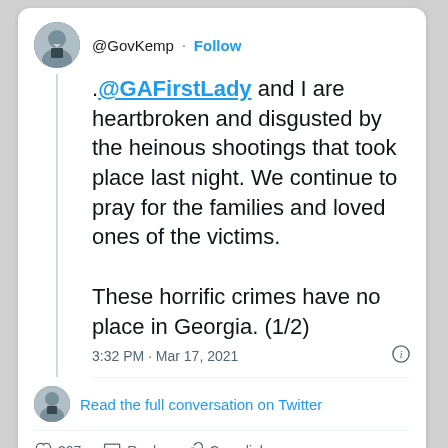[Figure (screenshot): Twitter/X screenshot of a tweet by @GovKemp]
@GovKemp · Follow
.@GAFirstLady and I are heartbroken and disgusted by the heinous shootings that took place last night. We continue to pray for the families and loved ones of the victims.

These horrific crimes have no place in Georgia. (1/2)
3:32 PM · Mar 17, 2021
Read the full conversation on Twitter
207   Reply   Copy link
Read 92 replies